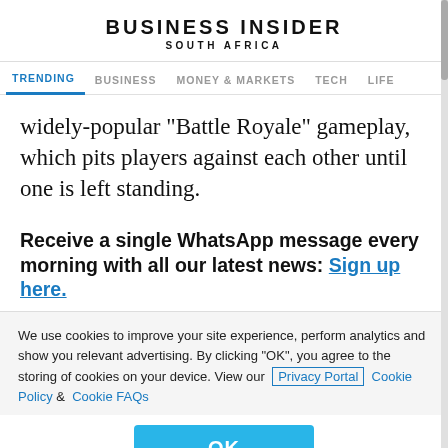BUSINESS INSIDER SOUTH AFRICA
TRENDING BUSINESS MONEY & MARKETS TECH LIFE
widely-popular "Battle Royale" gameplay, which pits players against each other until one is left standing.
Receive a single WhatsApp message every morning with all our latest news: Sign up here.
We use cookies to improve your site experience, perform analytics and show you relevant advertising. By clicking "OK", you agree to the storing of cookies on your device. View our Privacy Portal Cookie Policy & Cookie FAQs